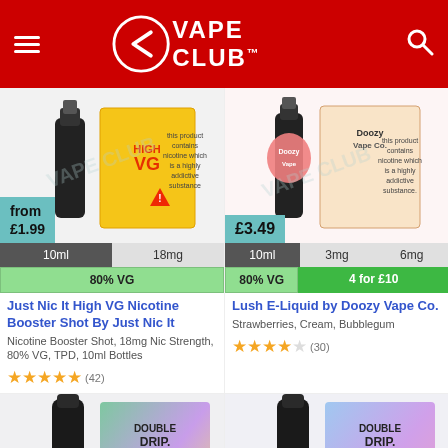VAPE CLUB
[Figure (photo): Just Nic It High VG Nicotine Booster Shot product image showing bottle and box]
from £1.99
10ml | 18mg
80% VG
Just Nic It High VG Nicotine Booster Shot By Just Nic It
Nicotine Booster Shot, 18mg Nic Strength, 80% VG, TPD, 10ml Bottles
★★★★★ (42)
[Figure (photo): Lush E-Liquid by Doozy Vape Co. product image showing bottle and box]
£3.49
10ml | 3mg | 6mg
80% VG | 4 for £10
Lush E-Liquid by Doozy Vape Co.
Strawberries, Cream, Bubblegum
★★★★☆ (30)
[Figure (photo): Double Drip Coil Sauce Crystal Mist e-liquid bottle and box]
[Figure (photo): Double Drip Coil Sauce Raspberry Sherbet e-liquid bottle and box]